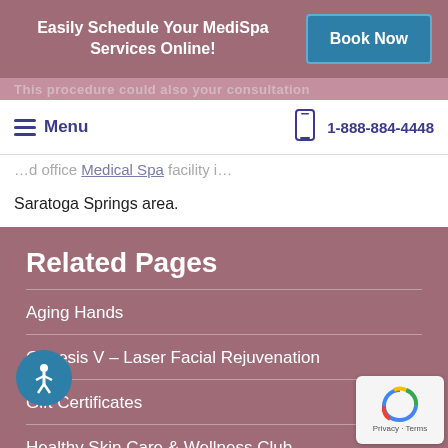Easily Schedule Your MediSpa Services Online! Book Now
Menu  1-888-884-4448
Medical Spa facility in the Saratoga Springs area.
Related Pages
Aging Hands
Genesis V – Laser Facial Rejuvenation
Gift Certificates
Healthy Skin Care & Wellness Club
Jeuveau®